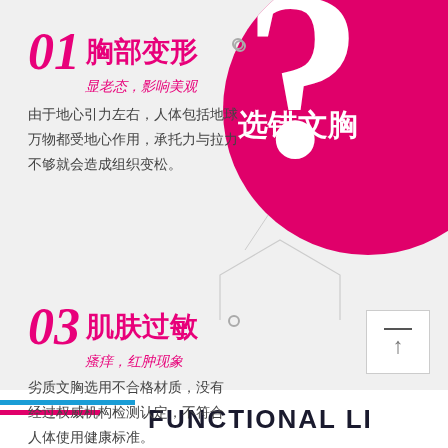01 胸部变形
显老态，影响美观
由于地心引力左右，人体包括地球万物都受地心作用，承托力与拉力不够就会造成组织变松。
[Figure (infographic): Pink circle with white question mark and Chinese text 选错文胸]
03 肌肤过敏
瘙痒，红肿现象
劣质文胸选用不合格材质，没有经过权威机构检测认定，不符合人体使用健康标准。
FUNCTIONAL LI